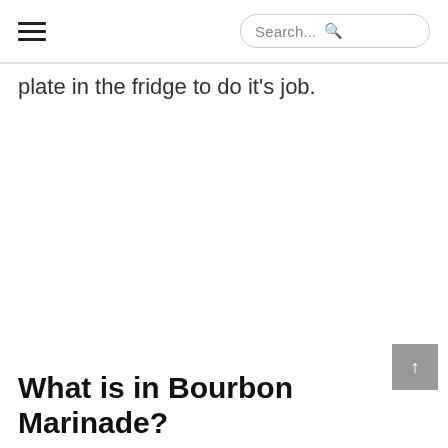☰  Search...
plate in the fridge to do it's job.
What is in Bourbon Marinade?